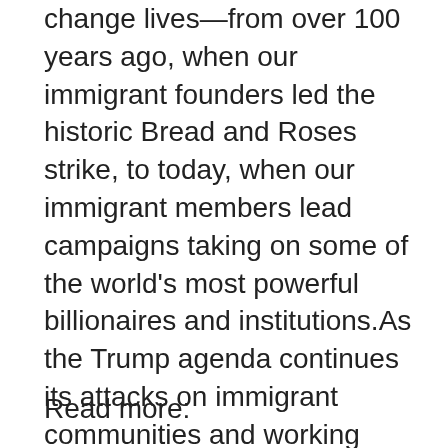change lives—from over 100 years ago, when our immigrant founders led the historic Bread and Roses strike, to today, when our immigrant members lead campaigns taking on some of the world's most powerful billionaires and institutions.As the Trump agenda continues its attacks on immigrant communities and working people everywhere, UNITE HERE will continue building a movement to enable people of all backgrounds to achieve greater equality and opportunity.
To learn more, visit unitehere.org/campaign/immigration.
Read more: